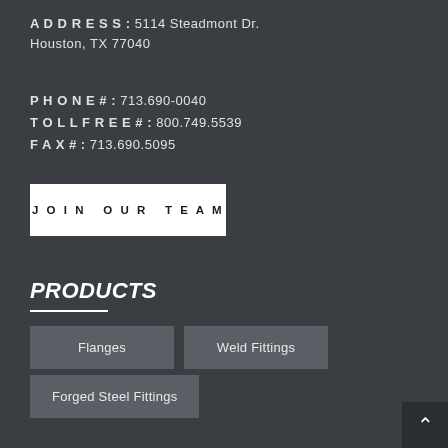ADDRESS: 5114 Steadmont Dr.
Houston, TX 77040
PHONE #: 713.690-0040
TOLL FREE #: 800.749.5539
FAX #: 713.690.5095
JOIN OUR TEAM
PRODUCTS
Flanges
Weld Fittings
Forged Steel Fittings